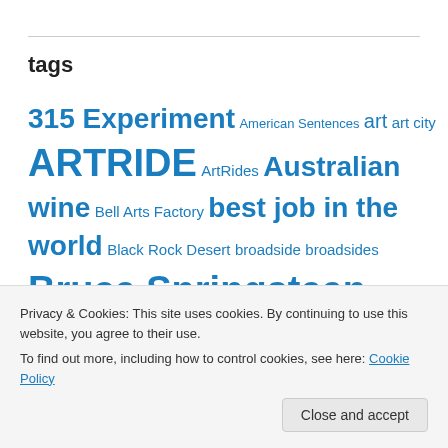tags
315 Experiment American Sentences art art city ARTRIDE ArtRides Australian wine Bell Arts Factory best job in the world Black Rock Desert broadside broadsides Bruce Springsteen burning man camping Chris Ringland chumash climate change conceptual poetry critical mass Danika Dinsmore Earth Day Earth Month
Privacy & Cookies: This site uses cookies. By continuing to use this website, you agree to their use. To find out more, including how to control cookies, see here: Cookie Policy